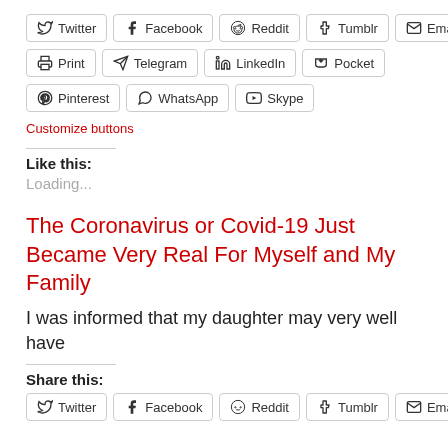Twitter | Facebook | Reddit | Tumblr | Email
Print | Telegram | LinkedIn | Pocket
Pinterest | WhatsApp | Skype
Customize buttons
Like this:
Loading...
The Coronavirus or Covid-19 Just Became Very Real For Myself and My Family
I was informed that my daughter may very well have
Share this:
Twitter | Facebook | Reddit | Tumblr | Email